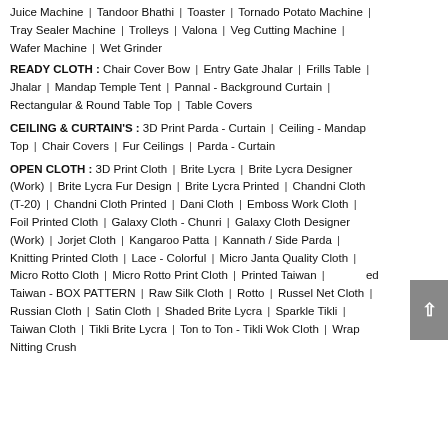Juice Machine | Tandoor Bhathi | Toaster | Tornado Potato Machine | Tray Sealer Machine | Trolleys | Valona | Veg Cutting Machine | Wafer Machine | Wet Grinder
READY CLOTH : Chair Cover Bow | Entry Gate Jhalar | Frills Table Jhalar | Mandap Temple Tent | Pannal - Background Curtain | Rectangular & Round Table Top | Table Covers
CEILING & CURTAIN'S : 3D Print Parda - Curtain | Ceiling - Mandap Top | Chair Covers | Fur Ceilings | Parda - Curtain
OPEN CLOTH : 3D Print Cloth | Brite Lycra | Brite Lycra Designer (Work) | Brite Lycra Fur Design | Brite Lycra Printed | Chandni Cloth (T-20) | Chandni Cloth Printed | Dani Cloth | Emboss Work Cloth | Foil Printed Cloth | Galaxy Cloth - Chunri | Galaxy Cloth Designer (Work) | Jorjet Cloth | Kangaroo Patta | Kannath / Side Parda | Knitting Printed Cloth | Lace - Colorful | Micro Janta Quality Cloth | Micro Rotto Cloth | Micro Rotto Print Cloth | Printed Taiwan | Printed Taiwan - BOX PATTERN | Raw Silk Cloth | Rotto | Russel Net Cloth | Russian Cloth | Satin Cloth | Shaded Brite Lycra | Sparkle Tikli | Taiwan Cloth | Tikli Brite Lycra | Ton to Ton - Tikli Wok Cloth | Wrap Nitting Crush